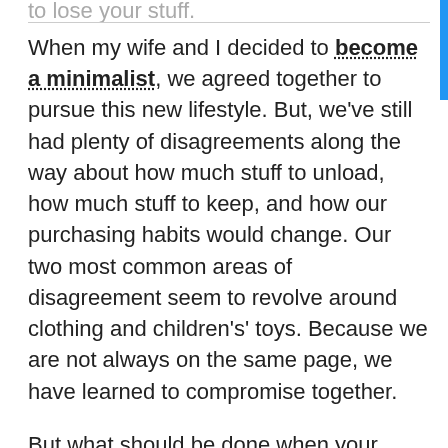...to lose your stuff.
When my wife and I decided to become a minimalist, we agreed together to pursue this new lifestyle. But, we've still had plenty of disagreements along the way about how much stuff to unload, how much stuff to keep, and how our purchasing habits would change. Our two most common areas of disagreement seem to revolve around clothing and children's' toys. Because we are not always on the same page, we have learned to compromise together.
But what should be done when your partner is on the complete opposite side of the spectrum – you are pursuing minimalism but your partner is a self-described hoarder or packrat. What steps can